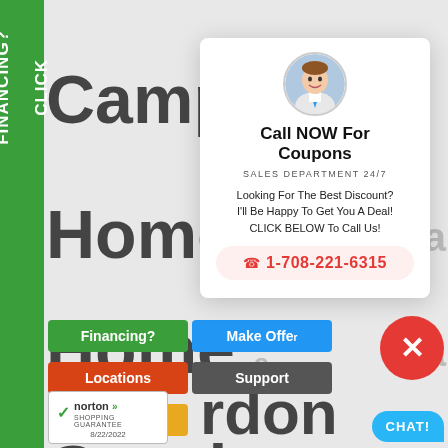[Figure (screenshot): Website screenshot with background navigation text: Camping, Home, Home, Gazebo, Home. Green vertical sidebar with FINANCING? CLICK text. Modal popup with photo of man, Call NOW For Coupons, SALES DEPARTMENT 24/7, body text, phone number 1-708-221-6315. Bottom navigation buttons: Financing?, Make Offer, Locations, Support, New Items. Red close button with X. Blue CHAT! bubble. Norton Shopping Guarantee badge dated 8/22/2022.]